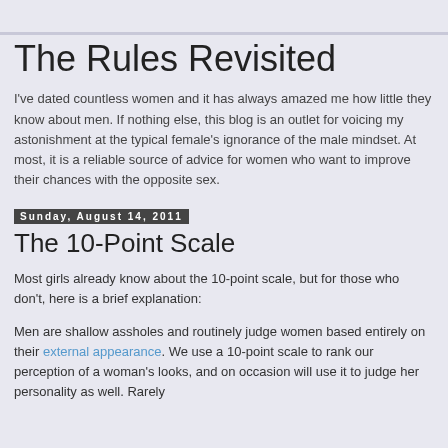The Rules Revisited
I've dated countless women and it has always amazed me how little they know about men. If nothing else, this blog is an outlet for voicing my astonishment at the typical female's ignorance of the male mindset. At most, it is a reliable source of advice for women who want to improve their chances with the opposite sex.
Sunday, August 14, 2011
The 10-Point Scale
Most girls already know about the 10-point scale, but for those who don't, here is a brief explanation:
Men are shallow assholes and routinely judge women based entirely on their external appearance. We use a 10-point scale to rank our perception of a woman's looks, and on occasion will use it to judge her personality as well. Rarely